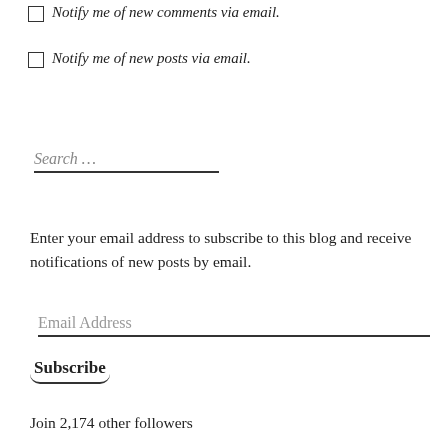Notify me of new comments via email.
Notify me of new posts via email.
Search …
Enter your email address to subscribe to this blog and receive notifications of new posts by email.
Email Address
Subscribe
Join 2,174 other followers